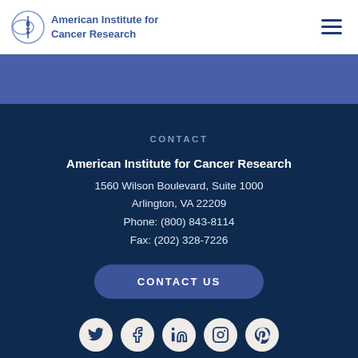American Institute for Cancer Research
[Figure (other): Blue band / hero section below header]
CONTACT
American Institute for Cancer Research
1560 Wilson Boulevard, Suite 1000
Arlington, VA 22209
Phone: (800) 843-8114
Fax: (202) 328-7226
CONTACT US
[Figure (infographic): Social media icons row: Twitter, Facebook, LinkedIn, Instagram, Pinterest]